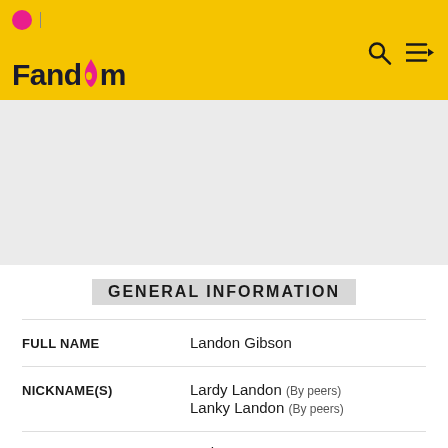Fandom
GENERAL INFORMATION
| Field | Value |
| --- | --- |
| FULL NAME | Landon Gibson |
| NICKNAME(S) | Lardy Landon (By peers)
Lanky Landon (By peers) |
| GENDER | Male |